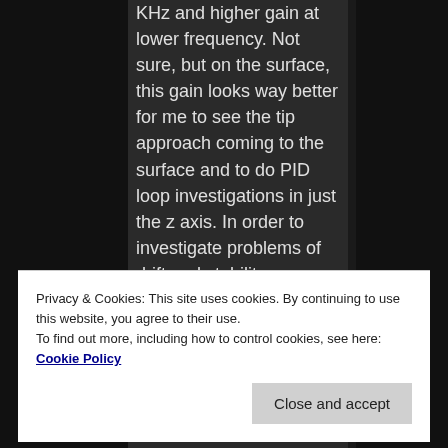KHz and higher gain at lower frequency. Not sure, but on the surface, this gain looks way better for me to see the tip approach coming to the surface and to do PID loop investigations in just the z axis. In order to investigate problems of drift and stability characterization , I am using a fiber Fabry Perot interferometer and a 1310 telecom grade laser and splitter. This allows me to characterize the Vpi of the translations stage and watch drift. I am going to also see how much the
Privacy & Cookies: This site uses cookies. By continuing to use this website, you agree to their use. To find out more, including how to control cookies, see here: Cookie Policy
my set up if it is possible.